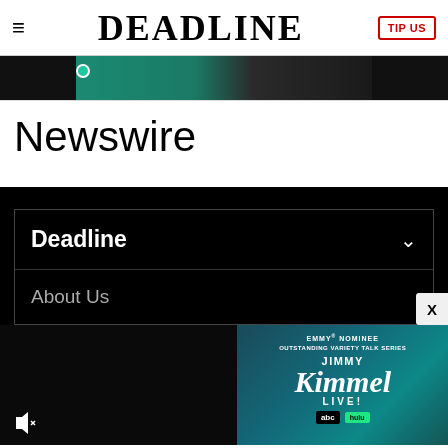DEADLINE — TIP US
[Figure (photo): Partial advertisement banner image with teal and dark background]
Newswire
Deadline
About Us
[Figure (advertisement): Emmy Nominee Outstanding Variety Talk Series — Jimmy Kimmel Live! advertisement with ABC and Hulu logos on teal background]